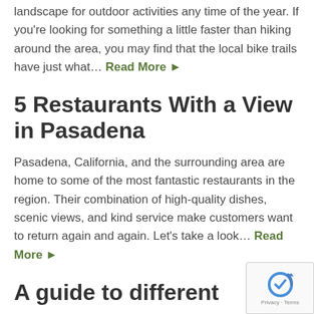landscape for outdoor activities any time of the year. If you're looking for something a little faster than hiking around the area, you may find that the local bike trails have just what… Read More ►
5 Restaurants With a View in Pasadena
Pasadena, California, and the surrounding area are home to some of the most fantastic restaurants in the region. Their combination of high-quality dishes, scenic views, and kind service make customers want to return again and again. Let's take a look… Read More ►
A guide to different